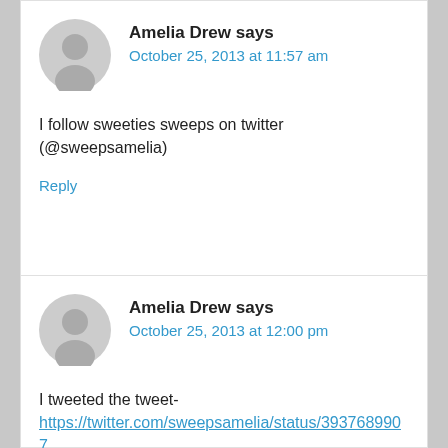Amelia Drew says
October 25, 2013 at 11:57 am
I follow sweeties sweeps on twitter (@sweepsamelia)
Reply
Amelia Drew says
October 25, 2013 at 12:00 pm
I tweeted the tweet-
https://twitter.com/sweepsamelia/status/3937689907
Reply